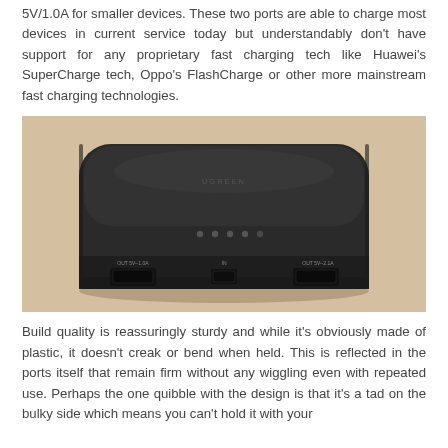5V/1.0A for smaller devices. These two ports are able to charge most devices in current service today but understandably don't have support for any proprietary fast charging tech like Huawei's SuperCharge tech, Oppo's FlashCharge or other more mainstream fast charging technologies.
[Figure (photo): A black rectangular power bank (portable battery charger) with rounded corners, sitting on a wooden surface. The device has LED indicator dots on the top face and shows two USB-A ports and one micro-USB port on the front edge, with small text labels above each port.]
Build quality is reassuringly sturdy and while it's obviously made of plastic, it doesn't creak or bend when held. This is reflected in the ports itself that remain firm without any wiggling even with repeated use. Perhaps the one quibble with the design is that it's a tad on the bulky side which means you can't hold it with your